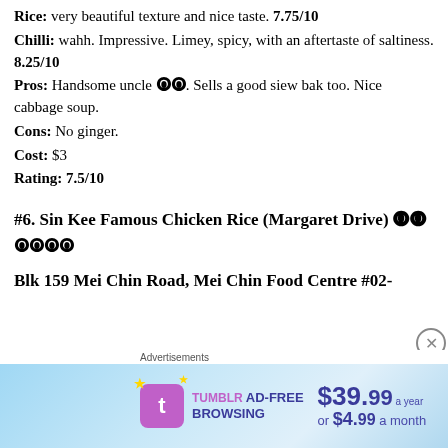Rice: very beautiful texture and nice taste. 7.75/10
Chilli: wahh. Impressive. Limey, spicy, with an aftertaste of saltiness. 8.25/10
Pros: Handsome uncle 🀄🀄. Sells a good siew bak too. Nice cabbage soup.
Cons: No ginger.
Cost: $3
Rating: 7.5/10
#6. Sin Kee Famous Chicken Rice (Margaret Drive) 🀄🀄
🀄🀄🀄🀄
Blk 159 Mei Chin Road, Mei Chin Food Centre #02-
[Figure (other): Tumblr Ad-Free Browsing advertisement banner: $39.99 a year or $4.99 a month]